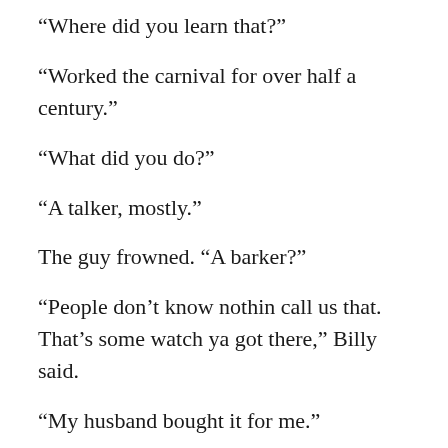“Where did you learn that?”
“Worked the carnival for over half a century.”
“What did you do?”
“A talker, mostly.”
The guy frowned. “A barker?”
“People don’t know nothin call us that. That’s some watch ya got there,” Billy said.
“My husband bought it for me.”
Billy grinned, it never took him long to git used to the freaks, like Jamie, the half man, half woman, and Angelo, with his twin’s arms and legs comin outta his gut.